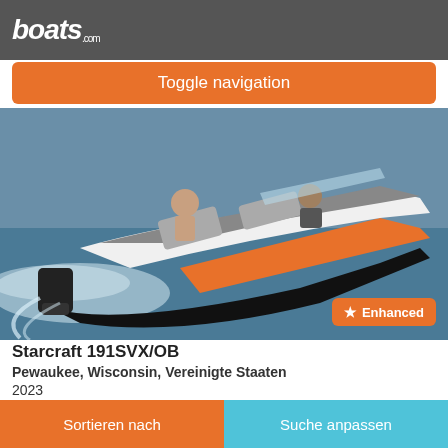boats.com
Toggle navigation
[Figure (photo): A white and orange Starcraft speedboat with two people riding on water, viewed from above-rear angle. Black outboard motor visible.]
★ Enhanced
Starcraft 191SVX/OB
Pewaukee, Wisconsin, Vereinigte Staaten
2023
€50.898
Sortieren nach | Suche anpassen